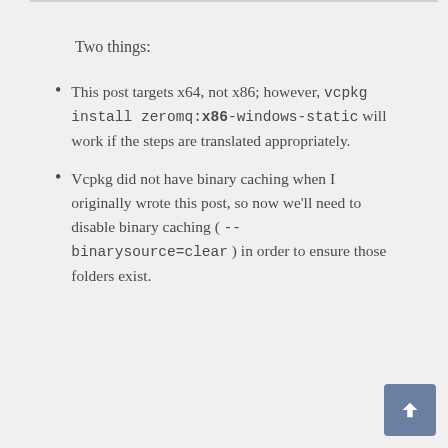Two things:
This post targets x64, not x86; however, vcpkg install zeromq:x86-windows-static will work if the steps are translated appropriately.
Vcpkg did not have binary caching when I originally wrote this post, so now we'll need to disable binary caching ( --binarysource=clear ) in order to ensure those folders exist.